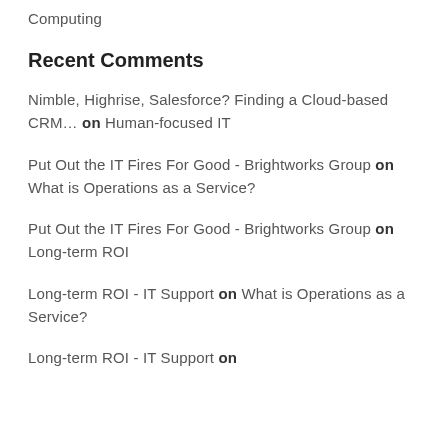Computing
Recent Comments
Nimble, Highrise, Salesforce? Finding a Cloud-based CRM… on Human-focused IT
Put Out the IT Fires For Good - Brightworks Group on What is Operations as a Service?
Put Out the IT Fires For Good - Brightworks Group on Long-term ROI
Long-term ROI - IT Support on What is Operations as a Service?
Long-term ROI - IT Support on